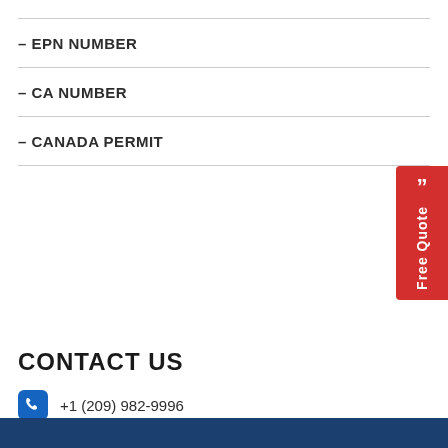– EPN NUMBER
– CA NUMBER
– CANADA PERMIT
CONTACT US
+1 (209) 982-9996
Mail: info@globalmultiservices.com